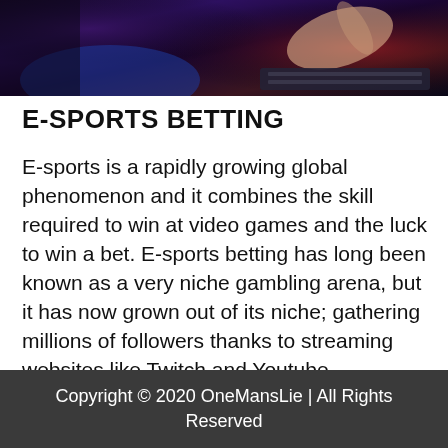[Figure (photo): A person's hand on a keyboard/gaming setup with dark purple and red ambient lighting, possibly an e-sports or gaming environment]
E-SPORTS BETTING
E-sports is a rapidly growing global phenomenon and it combines the skill required to win at video games and the luck to win a bet. E-sports betting has long been known as a very niche gambling arena, but it has now grown out of its niche; gathering millions of followers thanks to streaming websites like Twitch and Youtube.
Copyright © 2020 OneMansLie | All Rights Reserved